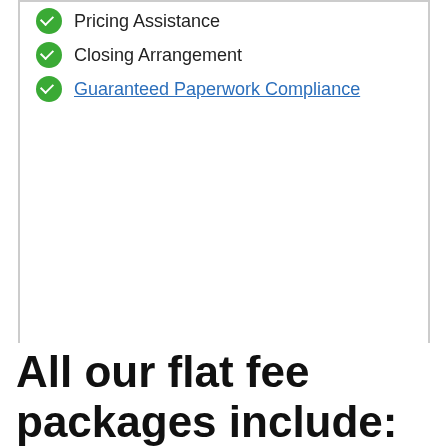Pricing Assistance
Closing Arrangement
Guaranteed Paperwork Compliance
Add to cart
All our flat fee packages include: